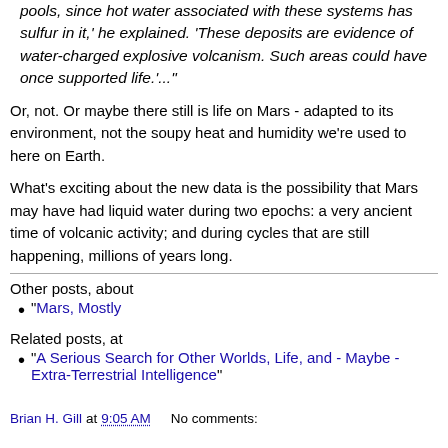pools, since hot water associated with these systems has sulfur in it,' he explained. 'These deposits are evidence of water-charged explosive volcanism. Such areas could have once supported life.'..."
Or, not. Or maybe there still is life on Mars - adapted to its environment, not the soupy heat and humidity we're used to here on Earth.
What's exciting about the new data is the possibility that Mars may have had liquid water during two epochs: a very ancient time of volcanic activity; and during cycles that are still happening, millions of years long.
Other posts, about
"Mars, Mostly
Related posts, at
"A Serious Search for Other Worlds, Life, and - Maybe - Extra-Terrestrial Intelligence"
Brian H. Gill at 9:05 AM   No comments: